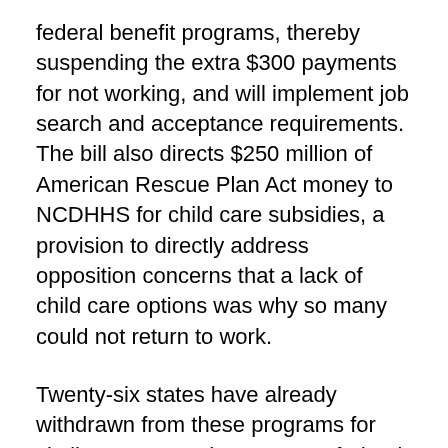federal benefit programs, thereby suspending the extra $300 payments for not working, and will implement job search and acceptance requirements. The bill also directs $250 million of American Rescue Plan Act money to NCDHHS for child care subsidies, a provision to directly address opposition concerns that a lack of child care options was why so many could not return to work.
Twenty-six states have already withdrawn from these programs for similar reasons. The two extra federal benefit plans are set to expire in September, leading some to argue the early withdrawal is largely superfluous. Though, we'd bet it would make a big difference for employers, especially in hospitality industry, for the busiest months of the year.
For all...